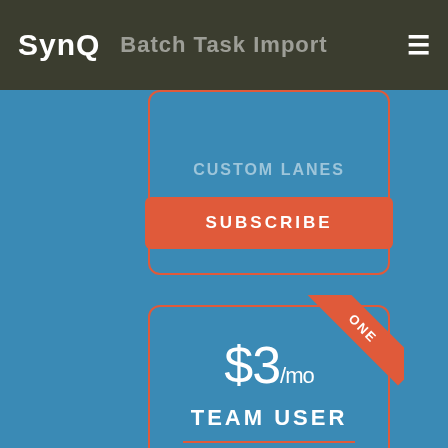SynQ
Batch Task Import
Custom Lanes
SUBSCRIBE
ONE
$3/mo
TEAM USER
1 user